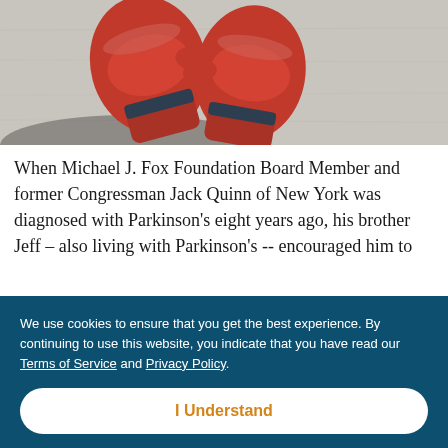[Figure (photo): Red boxing gloves hanging against a gray concrete wall background]
When Michael J. Fox Foundation Board Member and former Congressman Jack Quinn of New York was diagnosed with Parkinson's eight years ago, his brother Jeff – also living with Parkinson's -- encouraged him to
We use cookies to ensure that you get the best experience. By continuing to use this website, you indicate that you have read our Terms of Service and Privacy Policy.
I Understand